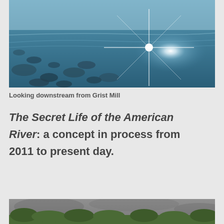[Figure (photo): Aerial or close-up view of a shallow rocky river with clear blue-tinted water and a bright sun star reflection near the center-right of the image. Looking downstream from Grist Mill.]
Looking downstream from Grist Mill
The Secret Life of the American River: a concept in process from 2011 to present day.
[Figure (photo): Bottom portion of a second photo showing a dark grey overcast sky and green foliage/trees along a river bank.]